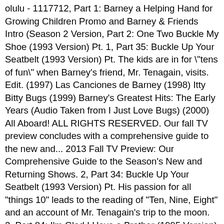olulu - 1117712, Part 1: Barney a Helping Hand for Growing Children Promo and Barney & Friends Intro (Season 2 Version, Part 2: One Two Buckle My Shoe (1993 Version) Pt. 1, Part 35: Buckle Up Your Seatbelt (1993 Version) Pt. The kids are in for "tens of fun" when Barney's friend, Mr. Tenagain, visits. Edit. (1997) Las Canciones de Barney (1998) Itty Bitty Bugs (1999) Barney's Greatest Hits: The Early Years (Audio Taken from I Just Love Bugs) (2000) All Aboard! ALL RIGHTS RESERVED. Our fall TV preview concludes with a comprehensive guide to the new and... 2013 Fall TV Preview: Our Comprehensive Guide to the Season's New and Returning Shows. 2, Part 34: Buckle Up Your Seatbelt (1993 Version) Pt. His passion for all "things 10" leads to the reading of "Ten, Nine, Eight" and an account of Mr. Tenagain's trip to the moon. 2, Part 84: I'm Glad I Have a Brother (1995 Version) Pt. Norman as Tosha's Dad (A Very Special Delivery!) Barney and his friends learn how manners are important while having an after school picnic. Sing and Dance with Barney: January 12, 1999 What a World We Share: March 9, 1999 Walk Around the Block with Barney: May 4, 1999 Let's Play School: July 27, 1999 Barney's Halloween Party: August 17, 1999